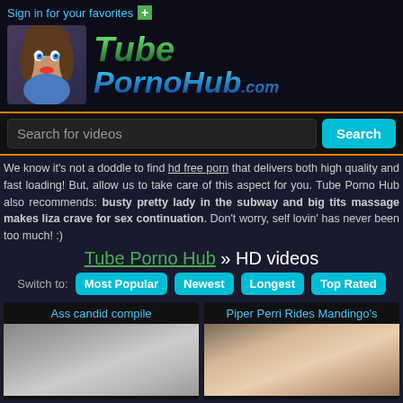Sign in for your favorites
[Figure (logo): TubePornoHub.com logo with cartoon mascot girl]
Search for videos
We know it's not a doddle to find hd free porn that delivers both high quality and fast loading! But, allow us to take care of this aspect for you. Tube Porno Hub also recommends: busty pretty lady in the subway and big tits massage makes liza crave for sex continuation. Don't worry, self lovin' has never been too much! :)
Tube Porno Hub » HD videos
Switch to: Most Popular | Newest | Longest | Top Rated
Ass candid compile
Piper Perri Rides Mandingo's